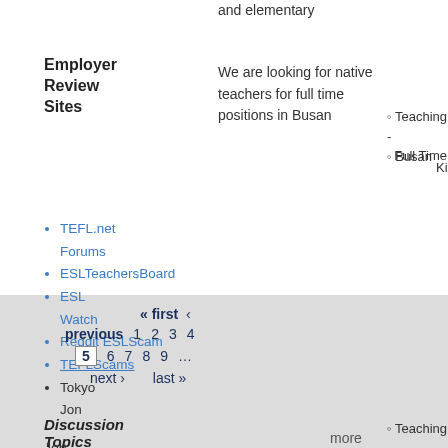and elementary
Employer Review Sites
We are looking for native teachers for full time positions in Busan
Teaching - Full Time
Busan
Kitte
TEFL.net Forums
ESLTeachersBoard
ESL Watch
Reddit ESLScam
TEFLScams
Tokyo Jon
Full time jobs
Teaching - Full Time
Busan
Kitte
« first ‹ previous 1 2 3 4 5 6 7 8 9 … next › last »
Discussion Topics
more
Job